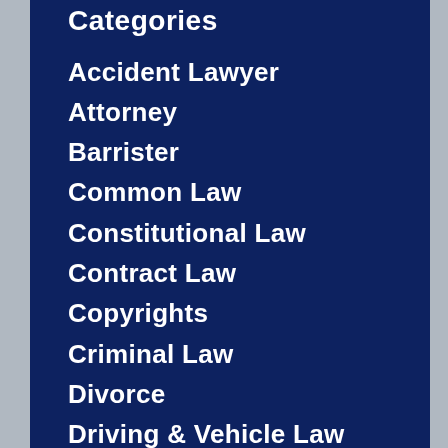Categories
Accident Lawyer
Attorney
Barrister
Common Law
Constitutional Law
Contract Law
Copyrights
Criminal Law
Divorce
Driving & Vehicle Law
Drug Law
Employment Law
Family Law